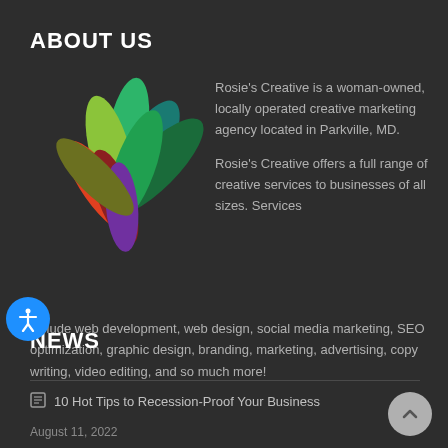ABOUT US
[Figure (logo): Colorful leaf/petal logo for Rosie's Creative — overlapping petals in green, teal, yellow-green, red-orange, dark red, and purple arranged in a fan/flower shape]
Rosie's Creative is a woman-owned, locally operated creative marketing agency located in Parkville, MD.

Rosie's Creative offers a full range of creative services to businesses of all sizes. Services include web development, web design, social media marketing, SEO optimization, graphic design, branding, marketing, advertising, copy writing, video editing, and so much more!
NEWS
10 Hot Tips to Recession-Proof Your Business
August 11, 2022